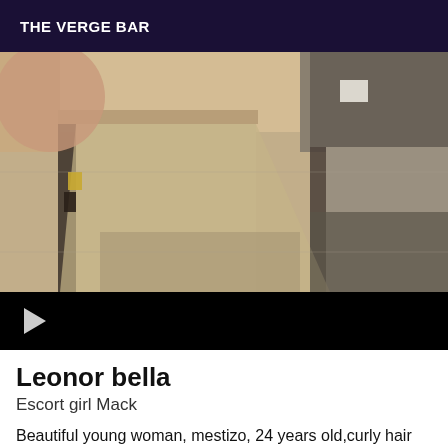THE VERGE BAR
[Figure (photo): Video thumbnail showing an overhead or angled view of what appears to be bathroom stalls or partitions in muted tan and grey tones, with a black video player bar at the bottom containing a play/send arrow icon]
Leonor bella
Escort girl Mack
Beautiful young woman, mestizo, 24 years old,curly hair